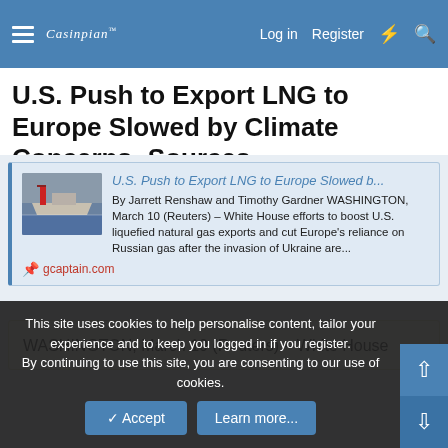Casinpian [logo] | Log in | Register | [lightning] | [search]
U.S. Push to Export LNG to Europe Slowed by Climate Concerns -Sources
[Figure (screenshot): Link preview card with thumbnail of a ship, title 'U.S. Push to Export LNG to Europe Slowed b...', excerpt 'By Jarrett Renshaw and Timothy Gardner WASHINGTON, March 10 (Reuters) – White House efforts to boost U.S. liquefied natural gas exports and cut Europe's reliance on Russian gas after the invasion of Ukraine are...', source 'gcaptain.com']
WASHINGTON, March 10 (Reuters) – White House
This site uses cookies to help personalise content, tailor your experience and to keep you logged in if you register.
By continuing to use this site, you are consenting to our use of cookies.